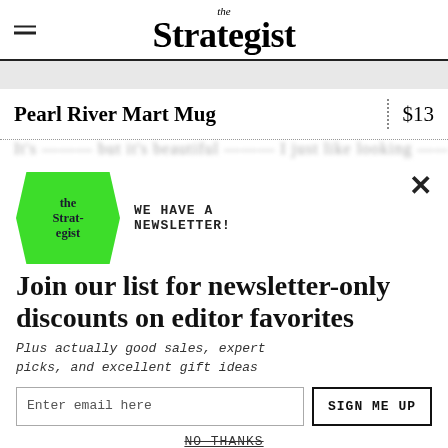the Strategist
Pearl River Mart Mug
$13
WE HAVE A NEWSLETTER!
Join our list for newsletter-only discounts on editor favorites
Plus actually good sales, expert picks, and excellent gift ideas
Enter email here
SIGN ME UP
NO THANKS